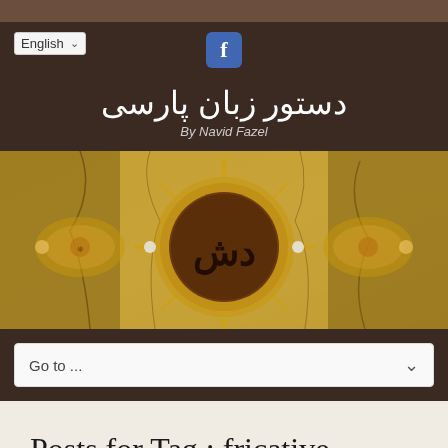[Figure (screenshot): Facebook icon button in blue square]
English ▾
دستور زبان پارسی
By Navid Fazel
[Figure (illustration): Decorative Persian calligraphy banner with golden ornamental design on a cracked yellow-brown background, featuring Persian script in a central circle]
Go to ...
Posts for Tag : fricative